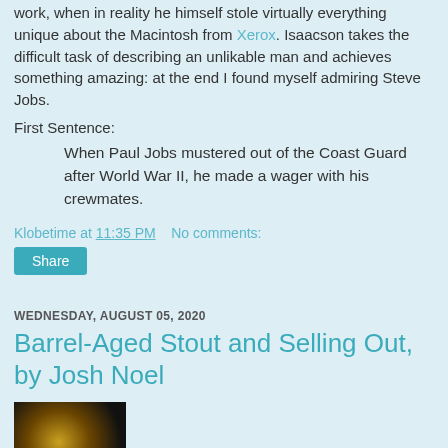work, when in reality he himself stole virtually everything unique about the Macintosh from Xerox. Isaacson takes the difficult task of describing an unlikable man and achieves something amazing: at the end I found myself admiring Steve Jobs.
First Sentence:
When Paul Jobs mustered out of the Coast Guard after World War II, he made a wager with his crewmates.
Klobetime at 11:35 PM    No comments:
Share
WEDNESDAY, AUGUST 05, 2020
Barrel-Aged Stout and Selling Out, by Josh Noel
[Figure (photo): Dark photo of what appears to be a beer glass or stout beverage]